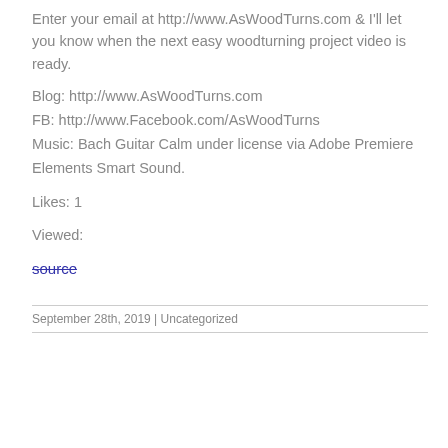Enter your email at http://www.AsWoodTurns.com & I'll let you know when the next easy woodturning project video is ready.
Blog: http://www.AsWoodTurns.com
FB: http://www.Facebook.com/AsWoodTurns
Music: Bach Guitar Calm under license via Adobe Premiere Elements Smart Sound.
Likes: 1
Viewed:
source
September 28th, 2019  |  Uncategorized